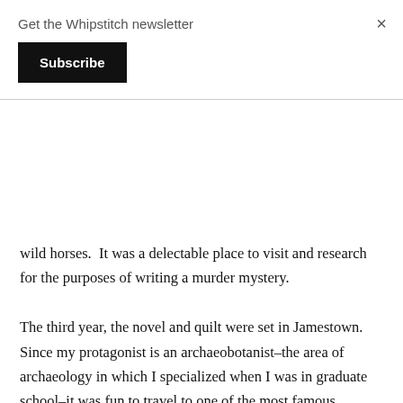Get the Whipstitch newsletter
×
Subscribe
wild horses.  It was a delectable place to visit and research for the purposes of writing a murder mystery.
The third year, the novel and quilt were set in Jamestown.  Since my protagonist is an archaeobotanist–the area of archaeology in which I specialized when I was in graduate school–it was fun to travel to one of the most famous American archaeological sites and imagine how a small group of professionals might find themselves in very